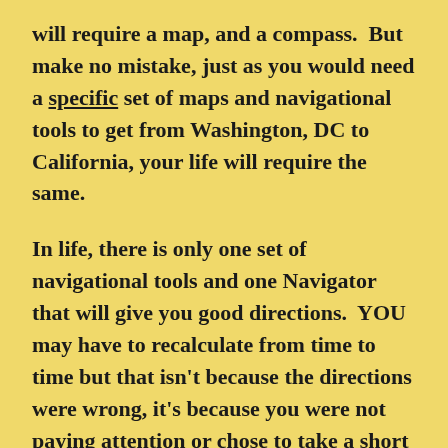will require a map, and a compass.  But make no mistake, just as you would need a specific set of maps and navigational tools to get from Washington, DC to California, your life will require the same.

In life, there is only one set of navigational tools and one Navigator that will give you good directions.  YOU may have to recalculate from time to time but that isn't because the directions were wrong, it's because you were not paying attention or chose to take a short cut and tried to travel down the road of life your own way.  I speak from experience, not theory.  I have tried to navigate life through many of the maps and compasses handed to me from the world (which by the way, there are f…